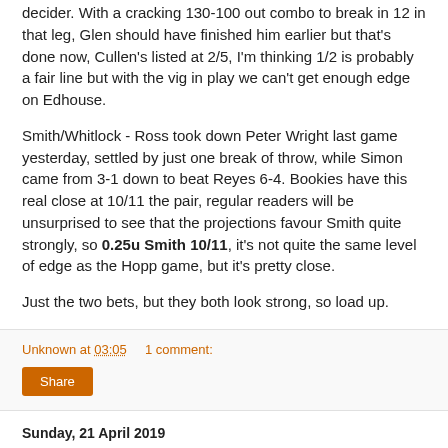decider. With a cracking 130-100 out combo to break in 12 in that leg, Glen should have finished him earlier but that's done now, Cullen's listed at 2/5, I'm thinking 1/2 is probably a fair line but with the vig in play we can't get enough edge on Edhouse.
Smith/Whitlock - Ross took down Peter Wright last game yesterday, settled by just one break of throw, while Simon came from 3-1 down to beat Reyes 6-4. Bookies have this real close at 10/11 the pair, regular readers will be unsurprised to see that the projections favour Smith quite strongly, so 0.25u Smith 10/11, it's not quite the same level of edge as the Hopp game, but it's pretty close.
Just the two bets, but they both look strong, so load up.
Unknown at 03:05    1 comment:
Sunday, 21 April 2019
Stuff that's surprised me today